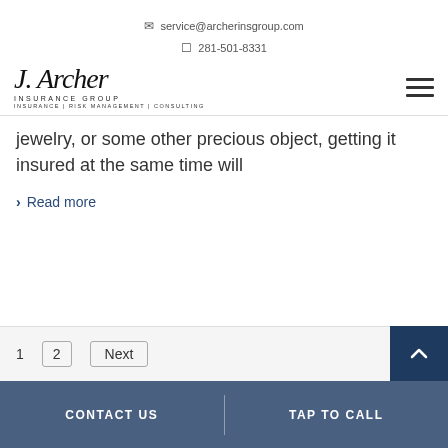service@archerinsgroup.com  281-501-8331
[Figure (logo): J. Archer Insurance Group logo with script text and tagline: Insurance | Risk Management | Consulting]
jewelry, or some other precious object, getting it insured at the same time will
Read more
CONTACT US   TAP TO CALL